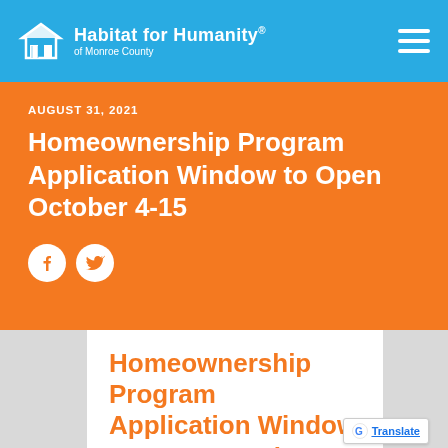[Figure (logo): Habitat for Humanity of Monroe County logo with house icon in white on cyan/blue header bar, with hamburger menu icon on right]
AUGUST 31, 2021
Homeownership Program Application Window to Open October 4-15
[Figure (illustration): Social media share icons: Facebook and Twitter circular white buttons on orange background]
Homeownership Program Application Window to Open October 4-15